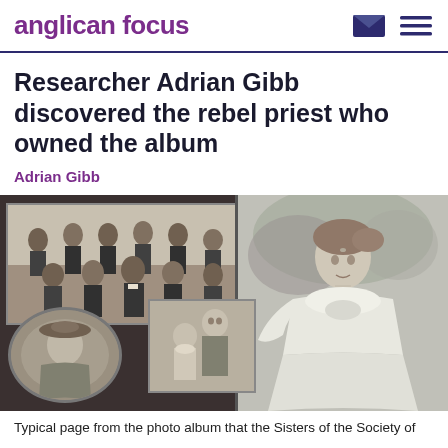anglican focus
Researcher Adrian Gibb discovered the rebel priest who owned the album
Adrian Gibb
[Figure (photo): Typical page from a photo album showing multiple black and white historical photographs: a group portrait of men in clerical and formal attire (top left), a large portrait of a young woman in a white Victorian-era dress (right), a small oval portrait of a woman with a hat (bottom left), and a photograph of two children (bottom center).]
Typical page from the photo album that the Sisters of the Society of